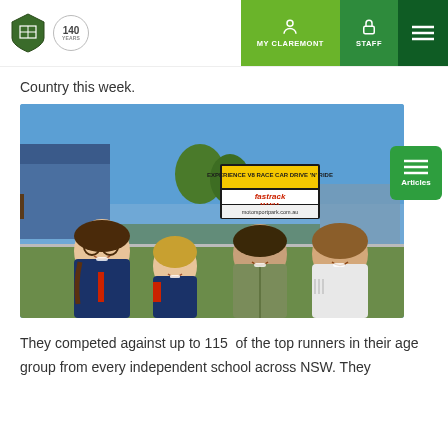MY CLAREMONT | STAFF
Country this week.
[Figure (photo): Four smiling children standing together outdoors at a motorsport park venue on a sunny day. A billboard reading 'fastrack mania' and 'motorsportpark.com.au' is visible in the background.]
They competed against up to 115 of the top runners in their age group from every independent school across NSW. They